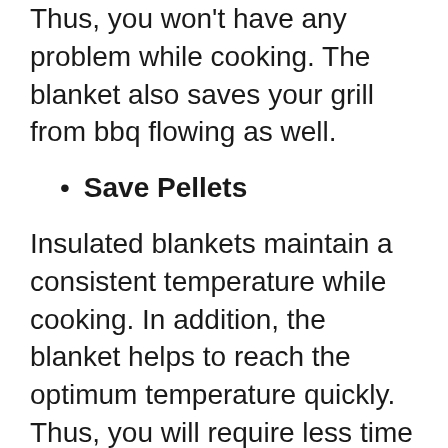Thus, you won't have any problem while cooking. The blanket also saves your grill from bbq flowing as well.
Save Pellets
Insulated blankets maintain a consistent temperature while cooking. In addition, the blanket helps to reach the optimum temperature quickly. Thus, you will require less time while cooking. This will save your fuel, and if you are using an electric smoker, you are going to save energy.
Though there are so many advantages